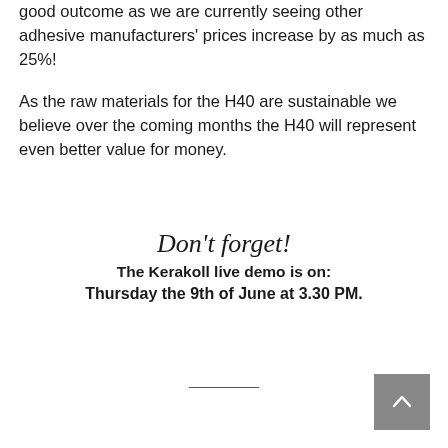good outcome as we are currently seeing other adhesive manufacturers' prices increase by as much as 25%!
As the raw materials for the H40 are sustainable we believe over the coming months the H40 will represent even better value for money.
Don't forget!
The Kerakoll live demo is on:
Thursday the 9th of June at 3.30 PM.